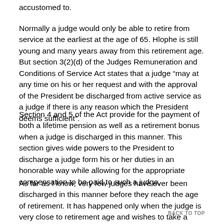accustomed to.
Normally a judge would only be able to retire from service at the earliest at the age of 65. Hlophe is still young and many years away from this retirement age. But section 3(2)(d) of the Judges Remuneration and Conditions of Service Act states that a judge “may at any time on his or her request and with the approval of the President be discharged from active service as a judge if there is any reason which the President deems sufficient”.
Section 4 and 5 of the Act provide for the payment of both a lifetime pension as well as a retirement bonus when a judge is discharged in this manner. This section gives wide powers to the President to discharge a judge form his or her duties in an honorable way while allowing for the appropriate compensation to be paid to such a judge.
As far as I know, very few judges have ever been discharged in this manner before they reach the age of retirement. It has happened only when the judge is very close to retirement age and wishes to take a slightly early retirement. It would therefore
BACK TO TOP